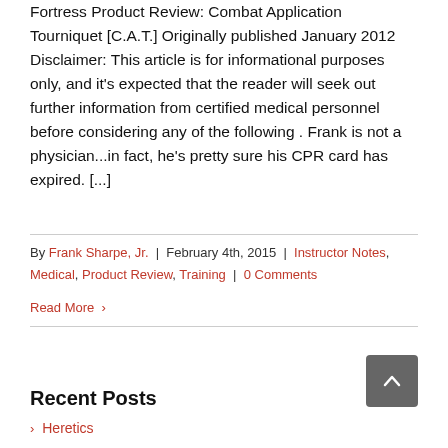Fortress Product Review: Combat Application Tourniquet [C.A.T.] Originally published January 2012 Disclaimer: This article is for informational purposes only, and it's expected that the reader will seek out further information from certified medical personnel before considering any of the following . Frank is not a physician...in fact, he's pretty sure his CPR card has expired. [...]
By Frank Sharpe, Jr. | February 4th, 2015 | Instructor Notes, Medical, Product Review, Training | 0 Comments
Read More ›
Recent Posts
› Heretics